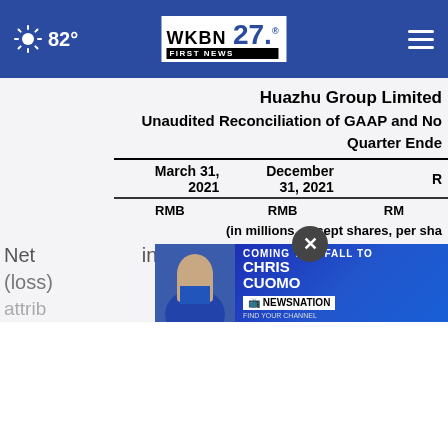82° WKBN 27 FIRST NEWS
Huazhu Group Limited
Unaudited Reconciliation of GAAP and No...
Quarter Ended
|  | March 31, 2021 RMB | December 31, 2021 RMB | R... |
| --- | --- | --- | --- |
| (in millions, except shares, per sha... |  |  |  |
| Net income (loss) attrib... |  |  |  |
[Figure (screenshot): Advertisement overlay: Chris Cuomo Coming This Fall To NewsNation. Find Your Channel.]